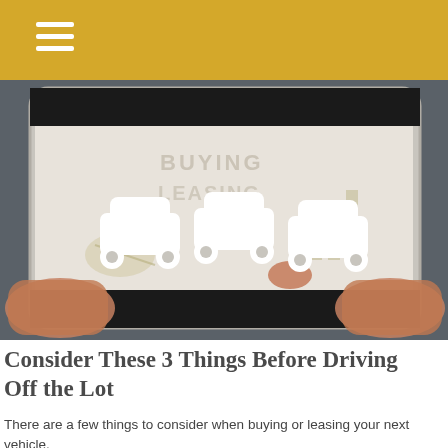[Figure (photo): Person holding a tablet displaying car icons and text about buying/leasing, with white car icons overlaid on the screen]
Consider These 3 Things Before Driving Off the Lot
There are a few things to consider when buying or leasing your next vehicle.